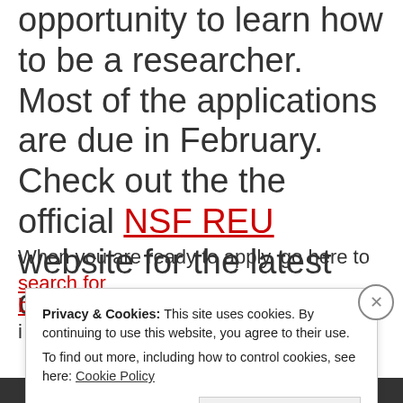opportunity to learn how to be a researcher. Most of the applications are due in February. Check out the the official NSF REU website for the latest details.
When you are ready to apply, go here to search for
Privacy & Cookies: This site uses cookies. By continuing to use this website, you agree to their use. To find out more, including how to control cookies, see here: Cookie Policy
Close and accept